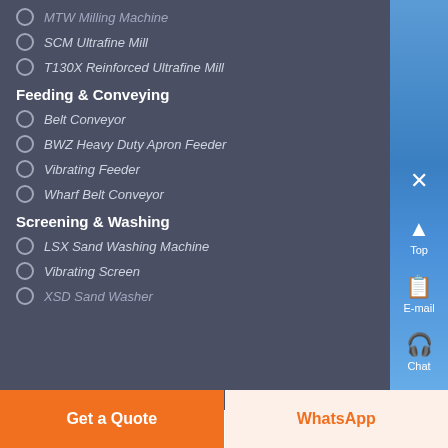MTW Milling Machine
SCM Ultrafine Mill
T130X Reinforced Ultrafine Mill
Feeding & Conveying
Belt Conveyor
BWZ Heavy Duty Apron Feeder
Vibrating Feeder
Wharf Belt Conveyor
Screening & Washing
LSX Sand Washing Machine
Vibrating Screen
XSD Sand Washer